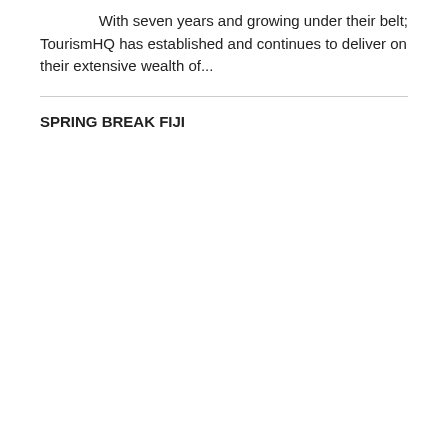With seven years and growing under their belt; TourismHQ has established and continues to deliver on their extensive wealth of...
SPRING BREAK FIJI